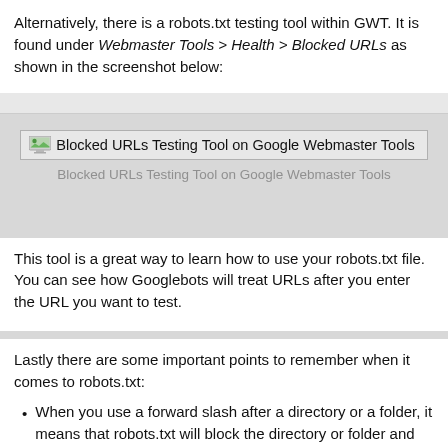Alternatively, there is a robots.txt testing tool within GWT. It is found under Webmaster Tools > Health > Blocked URLs as shown in the screenshot below:
[Figure (screenshot): Blocked URLs Testing Tool on Google Webmaster Tools - screenshot placeholder with image icon and text label]
Blocked URLs Testing Tool on Google Webmaster Tools
This tool is a great way to learn how to use your robots.txt file. You can see how Googlebots will treat URLs after you enter the URL you want to test.
Lastly there are some important points to remember when it comes to robots.txt:
When you use a forward slash after a directory or a folder, it means that robots.txt will block the directory or folder and everything in it, as shown below: